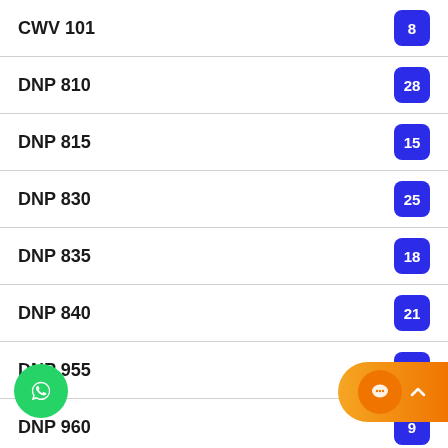CWV 101
DNP 810
DNP 815
DNP 830
DNP 835
DNP 840
DNP 955
DNP 960
ECH 520
ECN 220
ECN 351